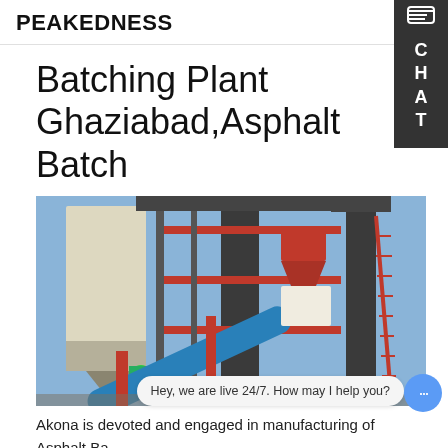PEAKEDNESS
Batching Plant Ghaziabad,Asphalt Batch
[Figure (photo): Industrial batching/asphalt plant with steel framework, red metal structures, silos, conveyor belt (blue), and machinery photographed against a blue sky.]
Akona is devoted and engaged in manufacturing of Asphalt Ba... recycling, Hot Mix Plants (Drum Type), Concrete